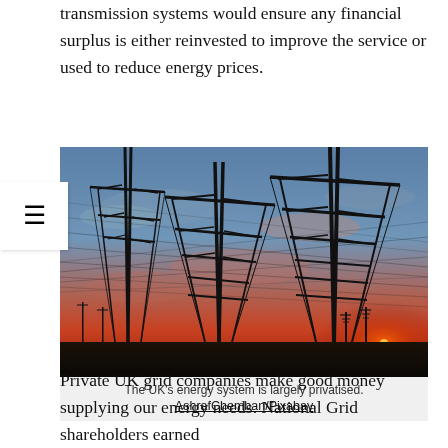transmission systems would ensure any financial surplus is either reinvested to improve the service or used to reduce energy prices.
[Figure (photo): Photograph of electricity transmission pylons silhouetted against a dramatic sunset sky with red, orange and blue hues, with many high-voltage power lines stretching across the scene.]
The UK's energy system is largely privatised.
AshrafChemban/Pixabay
Private UK grid companies make good money supplying our energy needs. National Grid shareholders earned